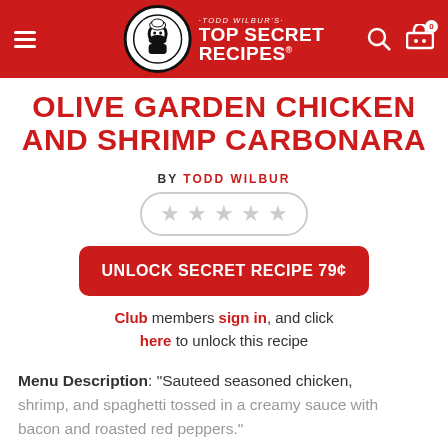Todd Wilbur's Top Secret Recipes
OLIVE GARDEN CHICKEN AND SHRIMP CARBONARA
BY TODD WILBUR
★★★★★ (star rating, unrated)
UNLOCK SECRET RECIPE 79¢
Club members sign in, and click here to unlock this recipe
Menu Description: "Sauteed seasoned chicken, shrimp, and spaghetti tossed in a creamy sauce with bacon and roasted red peppers."